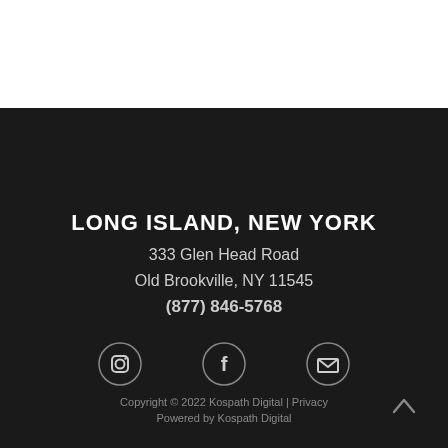LONG ISLAND, NEW YORK
333 Glen Head Road
Old Brookville, NY 11545
(877) 846-5768
[Figure (illustration): Three social media icons in a row: Instagram, Facebook, and envelope/email icon, rendered as circular outlines with white icons on dark background]
Copyright © 2022 Kospath Digital | Privacy
Powered by Kospath Digital